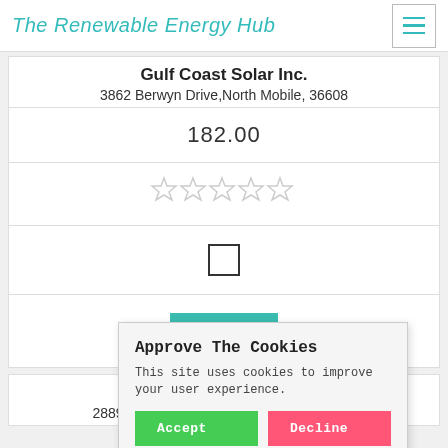The Renewable Energy Hub
Gulf Coast Solar Inc.
3862 Berwyn Drive,North Mobile, 36608
182.00
[Figure (other): Five empty star rating icons (gray outline stars, no fill)]
[Figure (other): Empty checkbox (square outline)]
Get a Quote
Okefenokee Solar Inc.
2889 Bob Bowen Road Blackshear, 31516
Approve The Cookies
This site uses cookies to improve your user experience.
Accept
Decline
Cookie policy